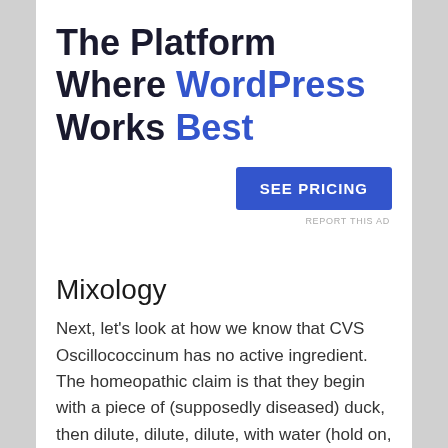[Figure (other): Advertisement block: large bold text 'The Platform Where WordPress Works Best' with a blue 'SEE PRICING' button, and a 'REPORT THIS AD' link]
Mixology
Next, let's look at how we know that CVS Oscillococcinum has no active ingredient. The homeopathic claim is that they begin with a piece of (supposedly diseased) duck, then dilute, dilute, dilute, with water (hold on, this is where it gets strange), where the water "remembers" the disease, and my Aunt Fanny has a bridge in San Francisco to sell you.